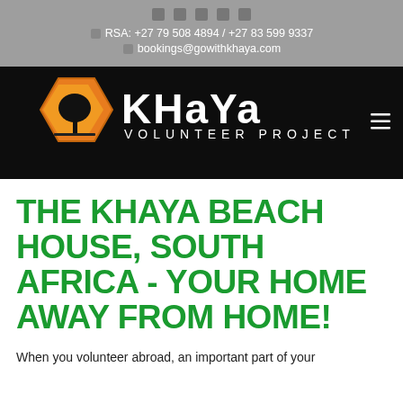RSA: +27 79 508 4894 / +27 83 599 9337 | bookings@gowithkhaya.com
[Figure (logo): Khaya Volunteer Projects logo — hexagonal orange/yellow badge with black tree silhouette on left, bold white 'KHaYa' text and 'VOLUNTEER PROJECTS' text on right, on black background]
THE KHAYA BEACH HOUSE, SOUTH AFRICA - YOUR HOME AWAY FROM HOME!
When you volunteer abroad, an important part of your